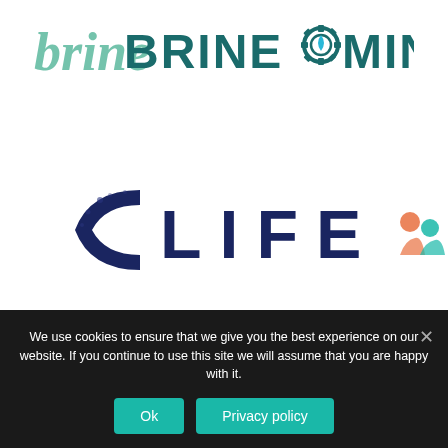[Figure (logo): Brine Mining logo: stylized 'brine' text in green handwriting style followed by 'BRINE' in teal/dark teal capitals, a teal gear icon with a blue water drop in center, and 'MINING' in dark teal capitals]
[Figure (logo): Partial logo at bottom of page: dark navy curved 'C' shape with dot texture, large spaced letters 'LIFE' in dark navy, and partial orange/teal people icon on right edge]
We use cookies to ensure that we give you the best experience on our website. If you continue to use this site we will assume that you are happy with it.
Ok
Privacy policy